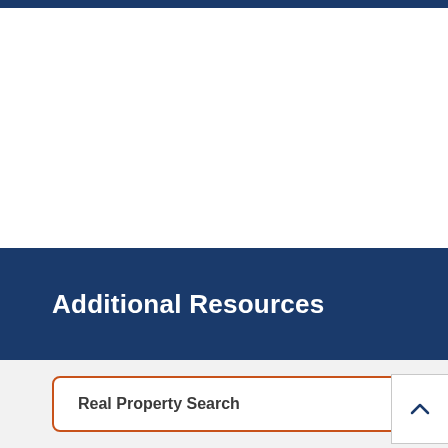Additional Resources
Real Property Search
Property Tax Calendar